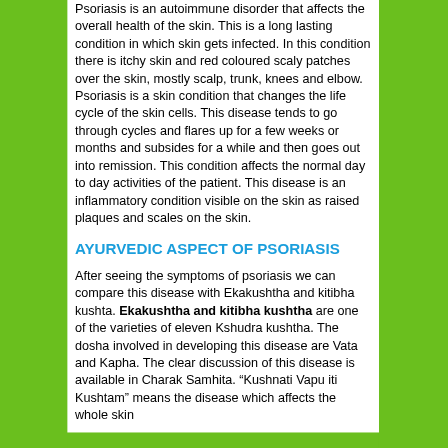Psoriasis is an autoimmune disorder that affects the overall health of the skin. This is a long lasting condition in which skin gets infected. In this condition there is itchy skin and red coloured scaly patches over the skin, mostly scalp, trunk, knees and elbow. Psoriasis is a skin condition that changes the life cycle of the skin cells. This disease tends to go through cycles and flares up for a few weeks or months and subsides for a while and then goes out into remission. This condition affects the normal day to day activities of the patient. This disease is an inflammatory condition visible on the skin as raised plaques and scales on the skin.
AYURVEDIC ASPECT OF PSORIASIS
After seeing the symptoms of psoriasis we can compare this disease with Ekakushtha and kitibha kushta. Ekakushtha and kitibha kushtha are one of the varieties of eleven Kshudra kushtha. The dosha involved in developing this disease are Vata and Kapha. The clear discussion of this disease is available in Charak Samhita. "Kushnati Vapu iti Kushtam" means the disease which affects the whole skin